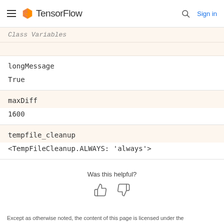TensorFlow — Sign in
Class Variables
| Name | Value |
| --- | --- |
| longMessage | True |
| maxDiff | 1600 |
| tempfile_cleanup | <TempFileCleanup.ALWAYS: 'always'> |
Was this helpful?
Except as otherwise noted, the content of this page is licensed under the